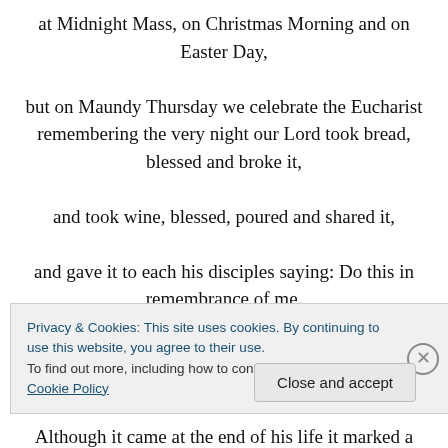at Midnight Mass, on Christmas Morning and on Easter Day, but on Maundy Thursday we celebrate the Eucharist remembering the very night our Lord took bread, blessed and broke it, and took wine, blessed, poured and shared it, and gave it to each his disciples saying: Do this in remembrance of me. There is something very poignant and powerful about the Eucharist we celebrate on this evening. Although it came at the end of his life it marked a new
Privacy & Cookies: This site uses cookies. By continuing to use this website, you agree to their use.
To find out more, including how to control cookies, see here: Cookie Policy
Close and accept